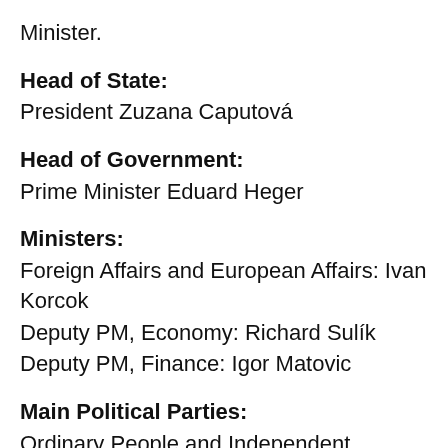Minister.
Head of State:
President Zuzana Caputová
Head of Government:
Prime Minister Eduard Heger
Ministers:
Foreign Affairs and European Affairs: Ivan Korcok
Deputy PM, Economy: Richard Sulík
Deputy PM, Finance: Igor Matovic
Main Political Parties:
Ordinary People and Independent
Personalities (OĽaNO); We Are Family (S...